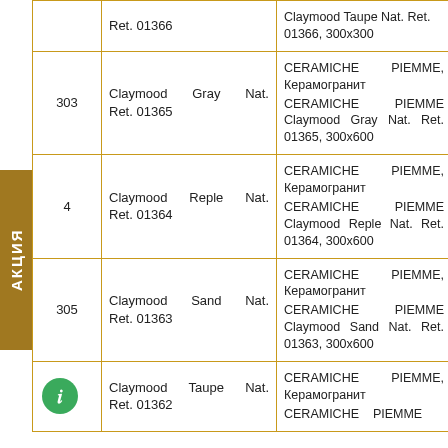| № | Наименование | Описание | Цена |
| --- | --- | --- | --- |
|  | Ret. 01366 | Claymood Taupe Nat. Ret. 01366, 300x300 | запросу |
| 303 | Claymood Gray Nat. Ret. 01365 | CERAMICHE PIEMME, Керамогранит CERAMICHE PIEMME Claymood Gray Nat. Ret. 01365, 300x600 | по запросу |
| 4 | Claymood Reple Nat. Ret. 01364 | CERAMICHE PIEMME, Керамогранит CERAMICHE PIEMME Claymood Reple Nat. Ret. 01364, 300x600 | по запросу |
| 305 | Claymood Sand Nat. Ret. 01363 | CERAMICHE PIEMME, Керамогранит CERAMICHE PIEMME Claymood Sand Nat. Ret. 01363, 300x600 | по запросу |
| 306 | Claymood Taupe Nat. Ret. 01362 | CERAMICHE PIEMME, Керамогранит CERAMICHE PIEMME | по запросу |